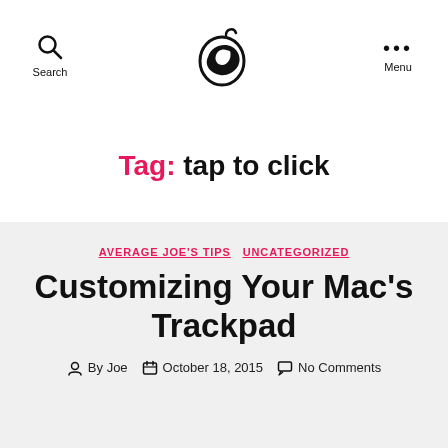Search | [Logo] | Menu
Tag: tap to click
AVERAGE JOE'S TIPS  UNCATEGORIZED
Customizing Your Mac's Trackpad
By Joe  October 18, 2015  No Comments